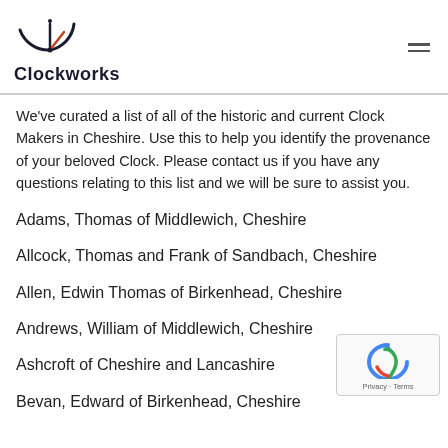Clockworks
We've curated a list of all of the historic and current Clock Makers in Cheshire. Use this to help you identify the provenance of your beloved Clock. Please contact us if you have any questions relating to this list and we will be sure to assist you.
Adams, Thomas of Middlewich, Cheshire
Allcock, Thomas and Frank of Sandbach, Cheshire
Allen, Edwin Thomas of Birkenhead, Cheshire
Andrews, William of Middlewich, Cheshire
Ashcroft of Cheshire and Lancashire
Bevan, Edward of Birkenhead, Cheshire